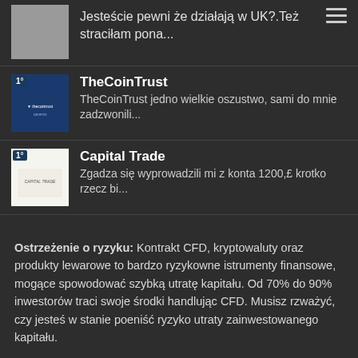Jesteście pewni że działają w UK?.Też straciłam pona...
TheCoinTrust — TheCoinTrust jedno wielkie oszustwo, sami do mnie zadzwonili...
Capital Trade — Zgadza się wyprowadzili mi z konta 1200,£ krotko rzecz bi...
Ostrzeżenie o ryzyku: Kontrakt CFD, kryptowaluty oraz produkty lewarowe to bardzo ryzykowne istrumenty finansowe, mogące spowodować szybką utratę kapitału. Od 70% do 90% inwestorów traci swoje środki handlując CFD. Musisz rzważyć, czy jesteś w stanie poeniść ryzyko utraty zainwestowanego kapitału.